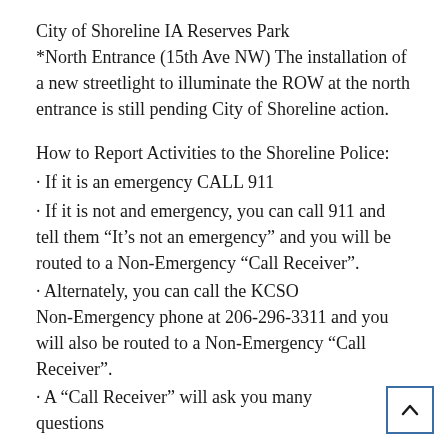City of Shoreline IA Reserves Park *North Entrance (15th Ave NW) The installation of a new streetlight to illuminate the ROW at the north entrance is still pending City of Shoreline action.
How to Report Activities to the Shoreline Police:
· If it is an emergency CALL 911
· If it is not and emergency, you can call 911 and tell them “It’s not an emergency” and you will be routed to a Non-Emergency “Call Receiver”.
· Alternately, you can call the KCSO Non-Emergency phone at 206-296-3311 and you will also be routed to a Non-Emergency “Call Receiver”.
· A “Call Receiver” will ask you many questions